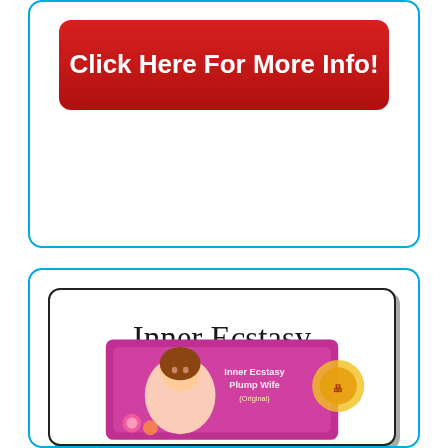Click Here For More Info!
[Figure (illustration): Product card showing 'Inner Ecstasy Plump Wife (Original)' with a product package image at the bottom featuring a woman on the cover]
Inner Ecstasy Plump Wife (Original)